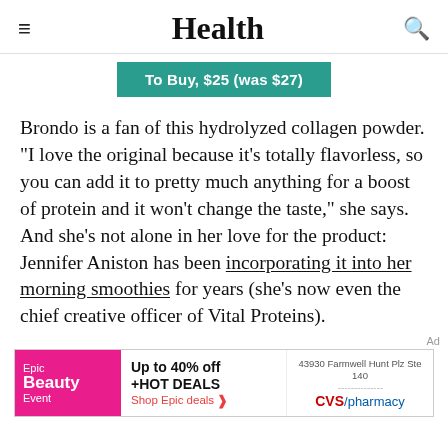Health
To Buy, $25 (was $27)
Brondo is a fan of this hydrolyzed collagen powder. "I love the original because it's totally flavorless, so you can add it to pretty much anything for a boost of protein and it won't change the taste," she says. And she's not alone in her love for the product: Jennifer Aniston has been incorporating it into her morning smoothies for years (she's now even the chief creative officer of Vital Proteins).
[Figure (other): Advertisement banner for Epic Beauty Event with CVS pharmacy store locator showing address 43930 Farmwell Hunt Plz Ste 140]